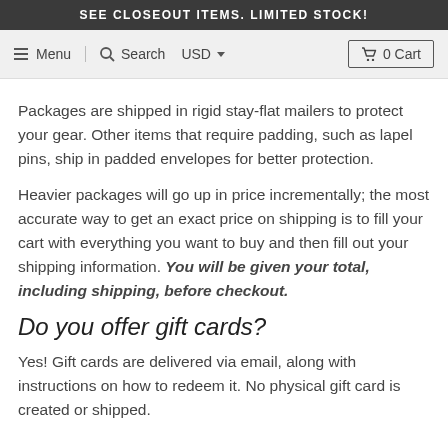SEE CLOSEOUT ITEMS. LIMITED STOCK!
Menu  Search  USD  0 Cart
Packages are shipped in rigid stay-flat mailers to protect your gear. Other items that require padding, such as lapel pins, ship in padded envelopes for better protection.
Heavier packages will go up in price incrementally; the most accurate way to get an exact price on shipping is to fill your cart with everything you want to buy and then fill out your shipping information. You will be given your total, including shipping, before checkout.
Do you offer gift cards?
Yes! Gift cards are delivered via email, along with instructions on how to redeem it. No physical gift card is created or shipped.